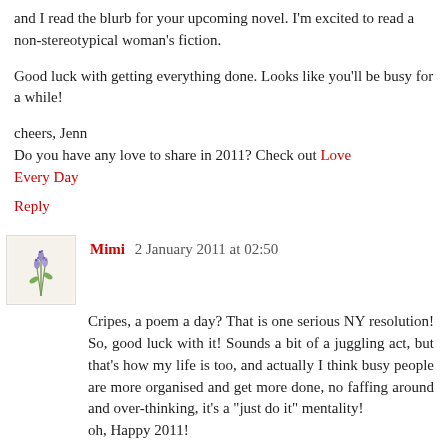and I read the blurb for your upcoming novel. I'm excited to read a non-stereotypical woman's fiction.
Good luck with getting everything done. Looks like you'll be busy for a while!
cheers, Jenn
Do you have any love to share in 2011? Check out Love Every Day
Reply
Mimi  2 January 2011 at 02:50
Cripes, a poem a day? That is one serious NY resolution! So, good luck with it! Sounds a bit of a juggling act, but that's how my life is too, and actually I think busy people are more organised and get more done, no faffing around and over-thinking, it's a "just do it" mentality!
oh, Happy 2011!
Reply